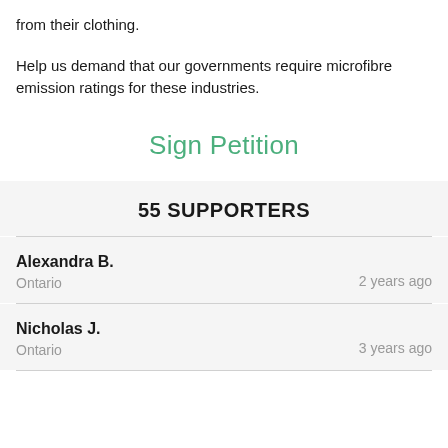from their clothing.
Help us demand that our governments require microfibre emission ratings for these industries.
Sign Petition
55 SUPPORTERS
Alexandra B.
Ontario
2 years ago
Nicholas J.
Ontario
3 years ago